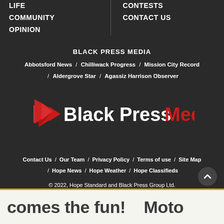LIFE
COMMUNITY
OPINION
CONTESTS
CONTACT US
BLACK PRESS MEDIA
Abbotsford News / Chilliwack Progress / Mission City Record / Aldergrove Star / Agassiz Harrison Observer
[Figure (logo): Black Press Media logo with red arrow icon, white 'Black Press' text and red 'Media' text]
Contact Us / Our Team / Privacy Policy / Terms of use / Site Map / Hope News / Hope Weather / Hope Classifieds
© 2022, Hope Standard and Black Press Group Ltd.
[Figure (screenshot): Advertisement banner: 'comes the fun! Moto']